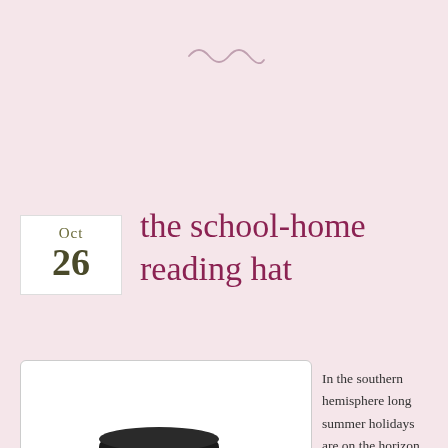[Figure (illustration): Decorative squiggle/tilde divider line at top of page]
the school-home reading hat
[Figure (illustration): A black top hat with a red band, with two red gift tags attached by string reading 'school' and 'home']
In the southern hemisphere long summer holidays are on the horizon while in the northern hemisphere winter is closing in and long nights